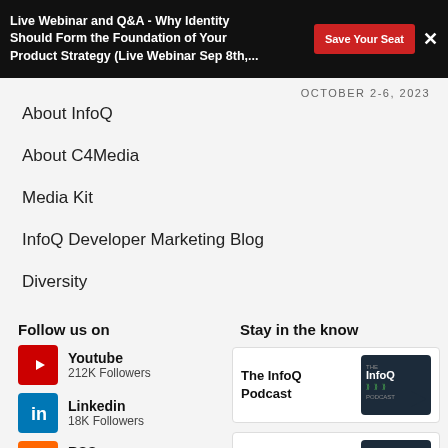Live Webinar and Q&A - Why Identity Should Form the Foundation of Your Product Strategy (Live Webinar Sep 8th,...
OCTOBER 2-6, 2023
About InfoQ
About C4Media
Media Kit
InfoQ Developer Marketing Blog
Diversity
Follow us on
Youtube
212K Followers
Linkedin
18K Followers
RSS
19K Readers
Twitter
50k Followers
Stay in the know
The InfoQ Podcast
Engineering Culture Podcast